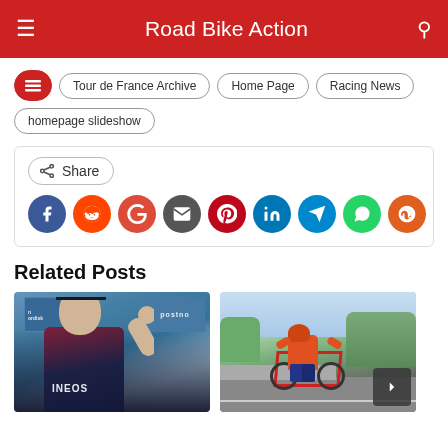Road Bike Action
Tour de France Archive
Home Page
Racing News
homepage slideshow
Share
Related Posts
[Figure (photo): Road cycling rider in INEOS kit waving at an event podium with blue sponsor boards]
[Figure (photo): Cyclist in orange jersey on a red road bike on a road with green trees and cloudy sky]